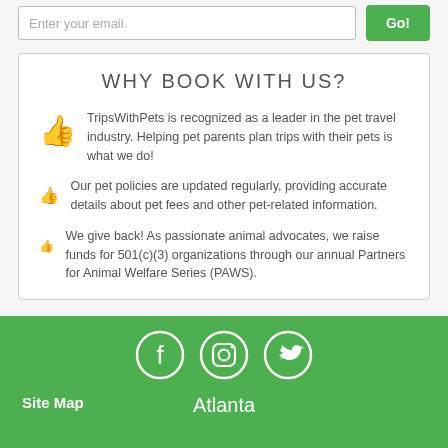WHY BOOK WITH US?
TripsWithPets is recognized as a leader in the pet travel industry. Helping pet parents plan trips with their pets is what we do!
Our pet policies are updated regularly, providing accurate details about pet fees and other pet-related information.
We give back! As passionate animal advocates, we raise funds for 501(c)(3) organizations through our annual Partners for Animal Welfare Series (PAWS).
Site Map    Atlanta